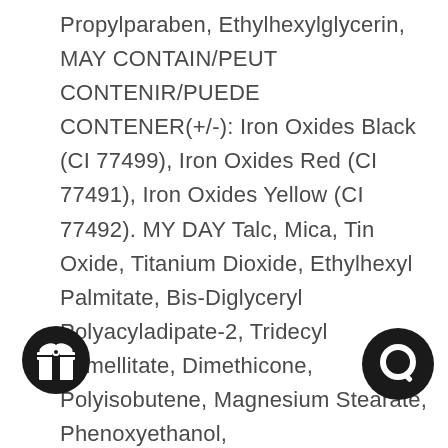Propylparaben, Ethylhexylglycerin, MAY CONTAIN/PEUT CONTENIR/PUEDE CONTENER(+/-): Iron Oxides Black (CI 77499), Iron Oxides Red (CI 77491), Iron Oxides Yellow (CI 77492). MY DAY Talc, Mica, Tin Oxide, Titanium Dioxide, Ethylhexyl Palmitate, Bis-Diglyceryl Polyacyladipate-2, Tridecyl Trimellitate, Dimethicone, Polyisobutene, Magnesium Stearate, Phenoxyethanol, Triethoxycaprylylsilane, Tocopheryl Acetate, Propylparaben, Ethylhexylglycerin, MAY CONTAIN/PEUT CONTENIR/PUEDE CONTENER(+/-): Iron Oxides Yellow (CI 7… ium Dioxide (CI 77891), Iron Oxides … (CI 77499). MODEST Talc, Mica, Methicone,
[Figure (illustration): Black circular icon with a gift/present symbol in white, bottom left]
[Figure (illustration): Black circular icon with a letter Q or chat bubble symbol in white, bottom right]